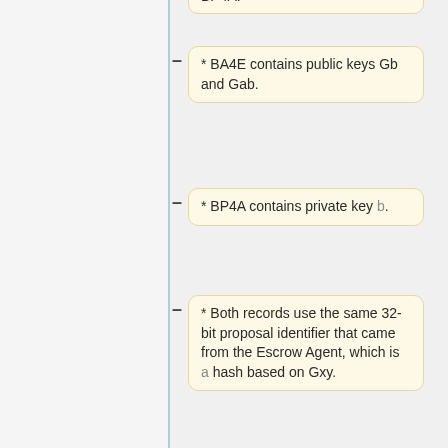BP4A.
* BA4E contains public keys Gb and Gab.
* BP4A contains private key b.
* Both records use the same 32-bit proposal identifier that came from the Escrow Agent, which is a hash based on Gxy.
If a prospective Alternate Beneficiary accepts an initial proposal